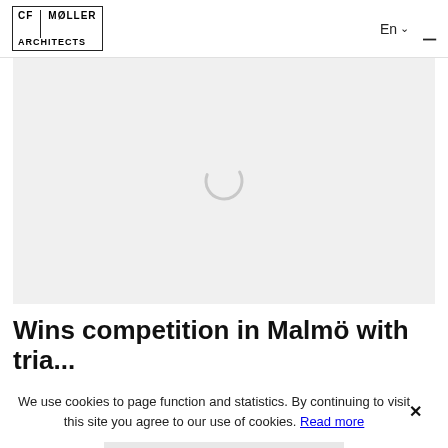CF MØLLER ARCHITECTS | En ≡
[Figure (screenshot): Light grey placeholder image area with a loading spinner (partial circle arc) centered on the grey background]
Wins competition in Malmö with tria...
We use cookies to page function and statistics. By continuing to visit this site you agree to our use of cookies. Read more
Ok, I accept cookies